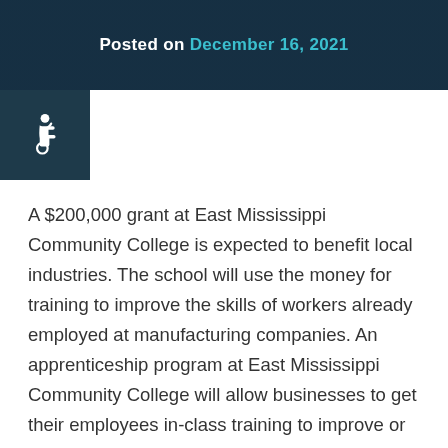Posted on December 16, 2021
[Figure (other): Accessibility icon (wheelchair symbol) in white on dark teal background]
A $200,000 grant at East Mississippi Community College is expected to benefit local industries. The school will use the money for training to improve the skills of workers already employed at manufacturing companies. An apprenticeship program at East Mississippi Community College will allow businesses to get their employees in-class training to improve or speed up their work on the job.
The school's WIOA Director of Career Services, Greta Miller, said EMCC stands ready to help